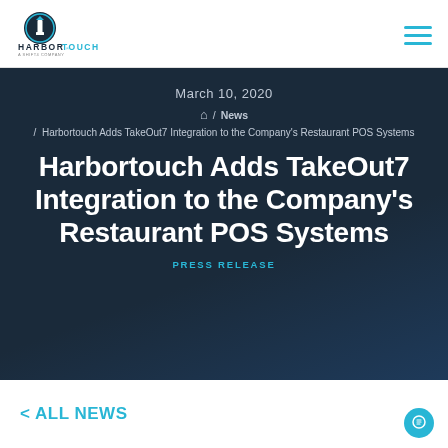Harbortouch logo and navigation
March 10, 2020
🏠 / News / Harbortouch Adds TakeOut7 Integration to the Company's Restaurant POS Systems
Harbortouch Adds TakeOut7 Integration to the Company's Restaurant POS Systems
PRESS RELEASE
< ALL NEWS